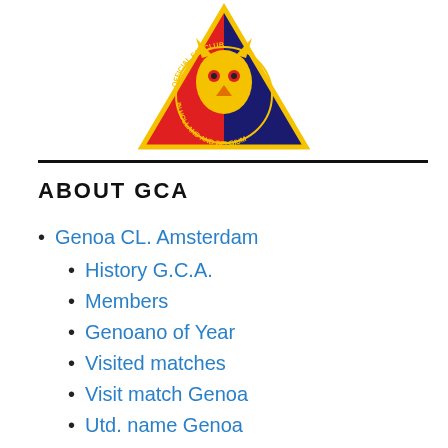[Figure (logo): Triangular fan club logo with a griffin/eagle mascot, red and blue sections, text reading OFFICIAL FANCLUB IN HOLLAND AND BELGIUM]
ABOUT GCA
Genoa CL. Amsterdam
History G.C.A.
Members
Genoano of Year
Visited matches
Visit match Genoa
Utd. name Genoa